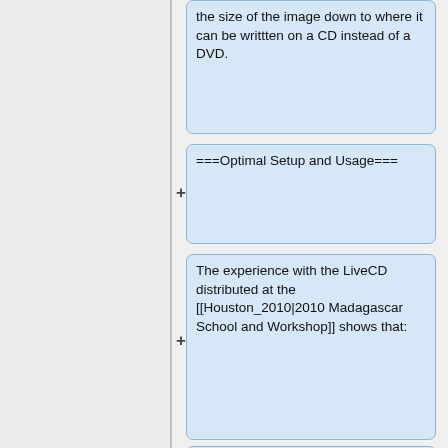the size of the image down to where it can be writtten on a CD instead of a DVD.
===Optimal Setup and Usage===
The experience with the LiveCD distributed at the [[Houston_2010|2010 Madagascar School and Workshop]] shows that:
* A CD is better than a DVD